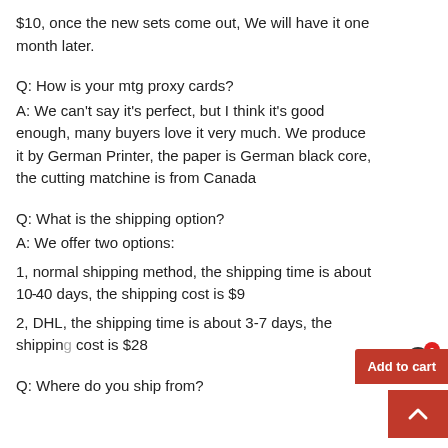$10, once the new sets come out, We will have it one month later.
Q: How is your mtg proxy cards?
A: We can't say it's perfect, but I think it's good enough, many buyers love it very much. We produce it by German Printer, the paper is German black core, the cutting matchine is from Canada
Q: What is the shipping option?
A: We offer two options:
1, normal shipping method, the shipping time is about 10-40 days, the shipping cost is $9
2, DHL, the shipping time is about 3-7 days, the shipping cost is $28
Q: Where do you ship from?